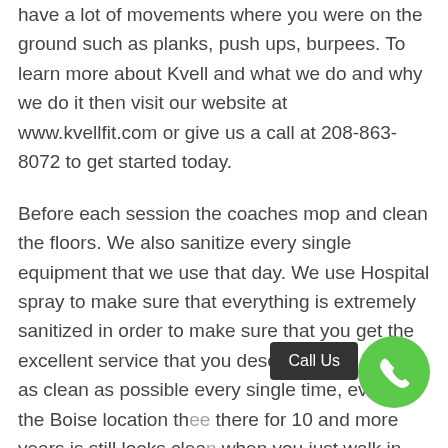have a lot of movements where you were on the ground such as planks, push ups, burpees. To learn more about Kvell and what we do and why we do it then visit our website at www.kvellfit.com or give us a call at 208-863-8072 to get started today.
Before each session the coaches mop and clean the floors. We also sanitize every single equipment that we use that day. We use Hospital spray to make sure that everything is extremely sanitized in order to make sure that you get the excellent service that you deserve. Kvell keeps it as clean as possible every single time, even in the Boise location th ee there for 10 and more years is still looks clea when you just walk in. Having a clean gym is